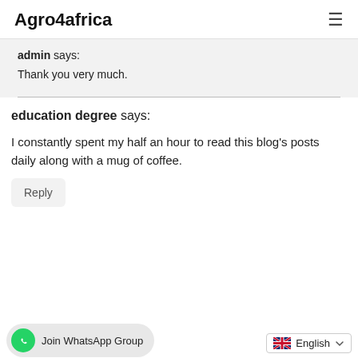Agro4africa
admin says:
Thank you very much.
education degree says:
I constantly spent my half an hour to read this blog's posts daily along with a mug of coffee.
Reply
Join WhatsApp Group
English